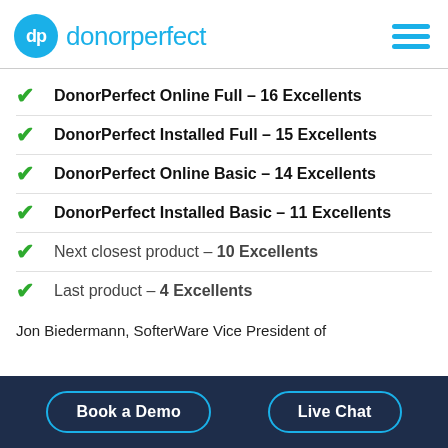dp donorperfect
DonorPerfect Online Full – 16 Excellents
DonorPerfect Installed Full – 15 Excellents
DonorPerfect Online Basic – 14 Excellents
DonorPerfect Installed Basic – 11 Excellents
Next closest product – 10 Excellents
Last product – 4 Excellents
Jon Biedermann, SofterWare Vice President of
Book a Demo  |  Live Chat